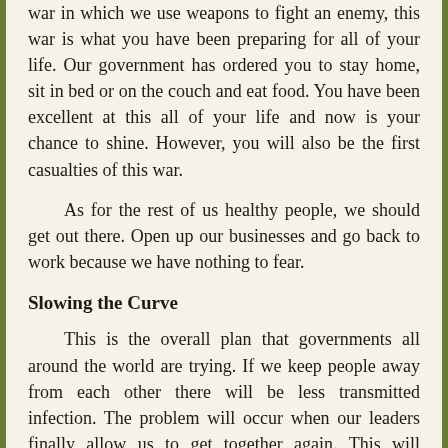war in which we use weapons to fight an enemy, this war is what you have been preparing for all of your life. Our government has ordered you to stay home, sit in bed or on the couch and eat food. You have been excellent at this all of your life and now is your chance to shine. However, you will also be the first casualties of this war.
As for the rest of us healthy people, we should get out there. Open up our businesses and go back to work because we have nothing to fear.
Slowing the Curve
This is the overall plan that governments all around the world are trying. If we keep people away from each other there will be less transmitted infection. The problem will occur when our leaders finally allow us to get together again. This will produce a second bell curve of diseases or a second wave. In my opinion this is a great mistake. It is inevitable that we come in contact with this virus. We are just delaying it. Lets just get it over with as quickly as possible.
We learn from our mistakes and this is a learning process. I feel that we should have carried on with our lives as usual. This